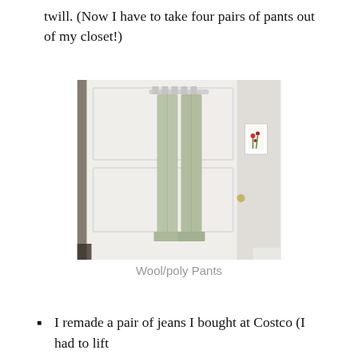twill. (Now I have to take four pairs of pants out of my closet!)
[Figure (photo): A pair of light sage/green wool-poly pants hanging on a white plastic multi-hanger on the back of a white door. The pants hang full length to the floor. A small framed picture with red flowers is visible on the right side of the door.]
Wool/poly Pants
I remade a pair of jeans I bought at Costco (I had to lift